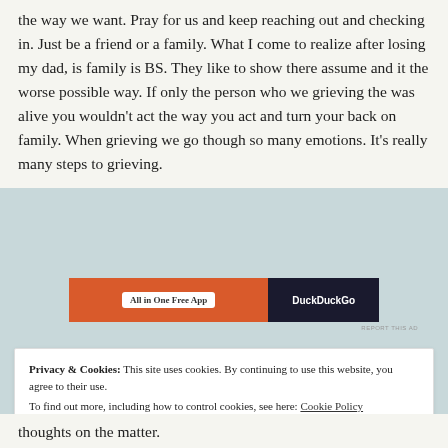the way we want. Pray for us and keep reaching out and checking in. Just be a friend or a family. What I come to realize after losing my dad, is family is BS. They like to show there assume and it the worse possible way. If only the person who we grieving the was alive you wouldn't act the way you act and turn your back on family. When grieving we go though so many emotions. It's really many steps to grieving.
[Figure (other): Advertisement banner: orange left section with 'All in One Free App' button and dark right section with DuckDuckGo logo]
REPORT THIS AD
Privacy & Cookies: This site uses cookies. By continuing to use this website, you agree to their use. To find out more, including how to control cookies, see here: Cookie Policy
thoughts on the matter.